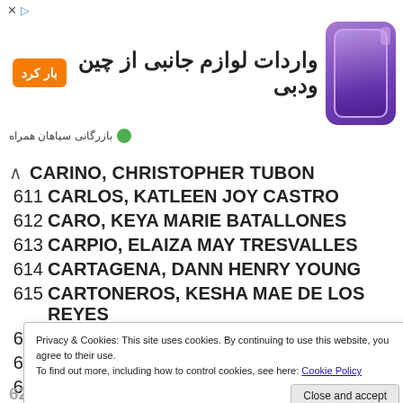[Figure (infographic): Advertisement banner for importing accessories from China and Dubai, in Persian/Farsi, showing an orange button, Persian text, and a purple phone image with 'بازرگانی سپاهان همراه' footer]
CARINO, CHRISTOPHER TUBON
611 CARLOS, KATLEEN JOY CASTRO
612 CARO, KEYA MARIE BATALLONES
613 CARPIO, ELAIZA MAY TRESVALLES
614 CARTAGENA, DANN HENRY YOUNG
615 CARTONEROS, KESHA MAE DE LOS REYES
616 CASAPAO, ELYZA MARIE ILAGAN
617 CASAS, ANN QUIMQUE
618 CASAS, DENIL FERNANDEZ
Privacy & Cookies: This site uses cookies. By continuing to use this website, you agree to their use. To find out more, including how to control cookies, see here: Cookie Policy
623 CASEM, VIDA DOROTHY ALMAJANO